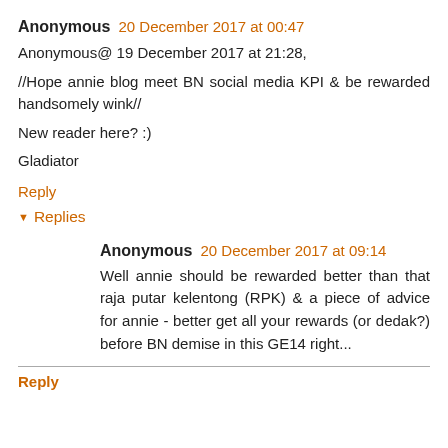Anonymous 20 December 2017 at 00:47
Anonymous@ 19 December 2017 at 21:28,

//Hope annie blog meet BN social media KPI & be rewarded handsomely wink//

New reader here? :)

Gladiator
Reply
Replies
Anonymous 20 December 2017 at 09:14
Well annie should be rewarded better than that raja putar kelentong (RPK) & a piece of advice for annie - better get all your rewards (or dedak?) before BN demise in this GE14 right...
Reply